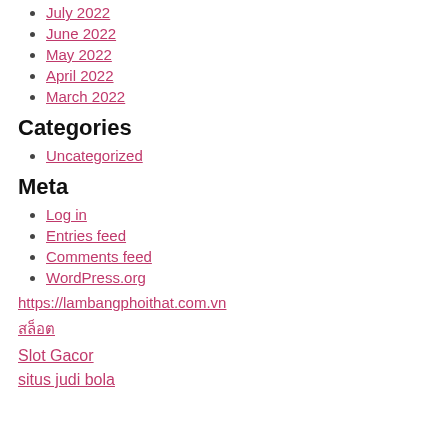July 2022
June 2022
May 2022
April 2022
March 2022
Categories
Uncategorized
Meta
Log in
Entries feed
Comments feed
WordPress.org
https://lambangphoithat.com.vn
สล็อต
Slot Gacor
situs judi bola